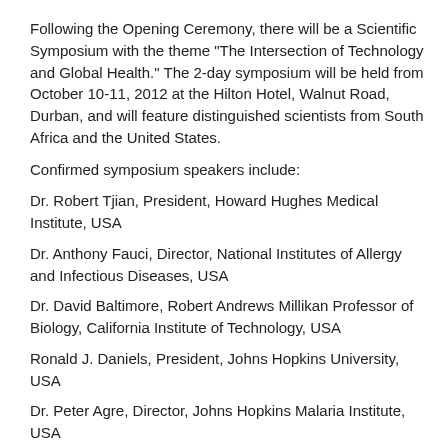Following the Opening Ceremony, there will be a Scientific Symposium with the theme "The Intersection of Technology and Global Health." The 2-day symposium will be held from October 10-11, 2012 at the Hilton Hotel, Walnut Road, Durban, and will feature distinguished scientists from South Africa and the United States.
Confirmed symposium speakers include:
Dr. Robert Tjian, President, Howard Hughes Medical Institute, USA
Dr. Anthony Fauci, Director, National Institutes of Allergy and Infectious Diseases, USA
Dr. David Baltimore, Robert Andrews Millikan Professor of Biology, California Institute of Technology, USA
Ronald J. Daniels, President, Johns Hopkins University, USA
Dr. Peter Agre, Director, Johns Hopkins Malaria Institute, USA
Dr. Sean Brady, HHMI Early Career Scientist, The Rockefeller University, USA
Mark Dean, Chief Technology Officer, IBM Middle East and Africa
Gary Cohen, Chair, IBM Africa